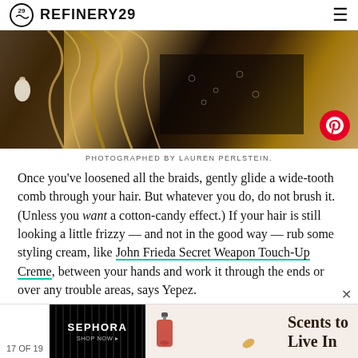REFINERY29
[Figure (photo): Close-up photograph of braided/wavy blonde and dark hair with black lace or netting fabric, Pinterest button overlay]
PHOTOGRAPHED BY LAUREN PERLSTEIN.
Once you've loosened all the braids, gently glide a wide-tooth comb through your hair. But whatever you do, do not brush it. (Unless you want a cotton-candy effect.) If your hair is still looking a little frizzy — and not in the good way — rub some styling cream, like John Frieda Secret Weapon Touch-Up Creme, between your hands and work it through the ends or over any trouble areas, says Yepez.
17 OF 19